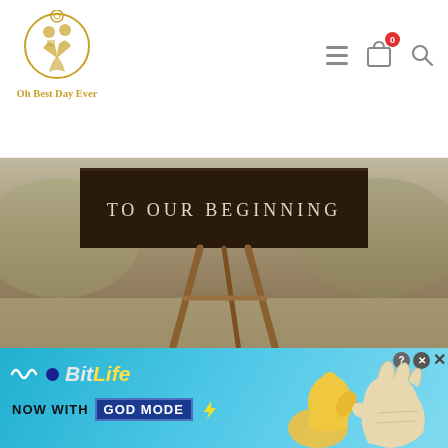Oh Best Day Ever — navigation header with logo, menu, cart (0), and search icons
[Figure (photo): Dark wooden welcome sign on an easel reading 'TO OUR BEGINNING' in a light serif font, set outdoors with blurred foliage background]
30 Stunning Wedding Welcome Sign Ideas to Steal
Wedding signage may seem like a last-minute detail, but seeing as your welcome sign greets your guests, you have a chance to really set the tone for your day in style! If you've been searching for the perfect way
[Figure (infographic): BitLife advertisement banner — 'BitLife NOW WITH GOD MODE' on a blue background with cartoon hand/thumb illustrations]